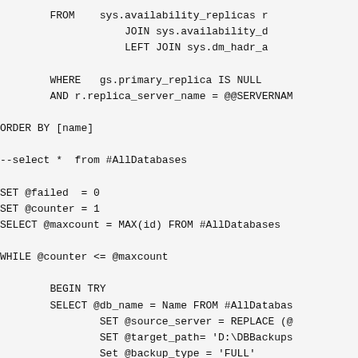FROM    sys.availability_replicas r
                    JOIN sys.availability_d
                    LEFT JOIN sys.dm_hadr_a

        WHERE   gs.primary_replica IS NULL
        AND r.replica_server_name = @@SERVERNAM

ORDER BY [name]

--select *  from #AllDatabases

SET @failed  = 0
SET @counter = 1
SELECT @maxcount = MAX(id) FROM #AllDatabases

WHILE @counter <= @maxcount

        BEGIN TRY
        SELECT @db_name = Name FROM #AllDatabas
                SET @source_server = REPLACE (@
                SET @target_path= 'D:\DBBackups
                Set @backup_type = 'FULL'